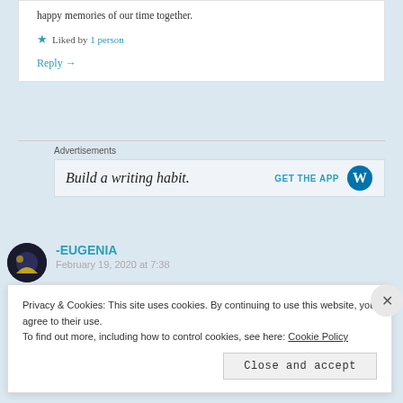happy memories of our time together.
★ Liked by 1 person
Reply →
Advertisements
[Figure (screenshot): WordPress 'Build a writing habit. GET THE APP' advertisement banner with WordPress logo]
-EUGENIA
February 19, 2020 at 7:38
Privacy & Cookies: This site uses cookies. By continuing to use this website, you agree to their use. To find out more, including how to control cookies, see here: Cookie Policy
Close and accept